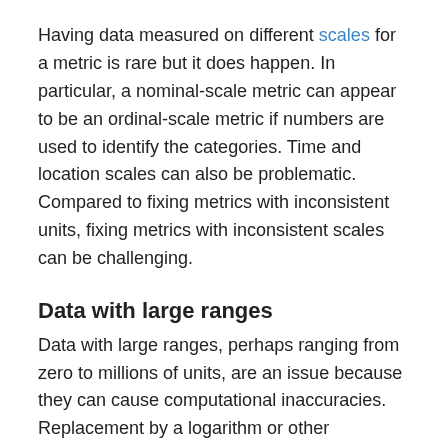Having data measured on different scales for a metric is rare but it does happen. In particular, a nominal-scale metric can appear to be an ordinal-scale metric if numbers are used to identify the categories. Time and location scales can also be problematic. Compared to fixing metrics with inconsistent units, fixing metrics with inconsistent scales can be challenging.
Data with large ranges
Data with large ranges, perhaps ranging from zero to millions of units, are an issue because they can cause computational inaccuracies. Replacement by a logarithm or other transformation can address this problem.